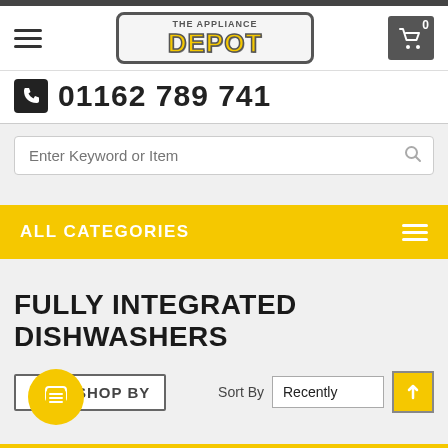[Figure (logo): The Appliance Depot logo — yellow text on dark border rounded rectangle]
01162 789 741
Enter Keyword or Item
ALL CATEGORIES
FULLY INTEGRATED DISHWASHERS
SHOP BY
Sort By  Recently